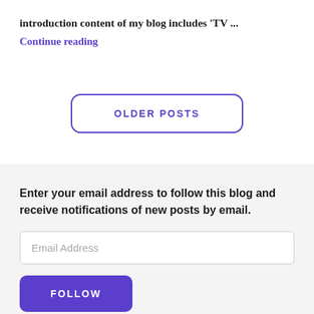introduction content of my blog includes ‘TV …
Continue reading
OLDER POSTS
Enter your email address to follow this blog and receive notifications of new posts by email.
Email Address
FOLLOW